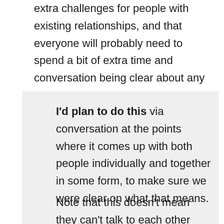extra challenges for people with existing relationships, and that everyone will probably need to spend a bit of extra time and conversation being clear about any necessary boundaries.
I'd plan to do this via conversation at the points where it comes up with both people individually and together in some form, to make sure we were clear on what that means.
Note that this doesn't mean they can't talk to each other about group work –